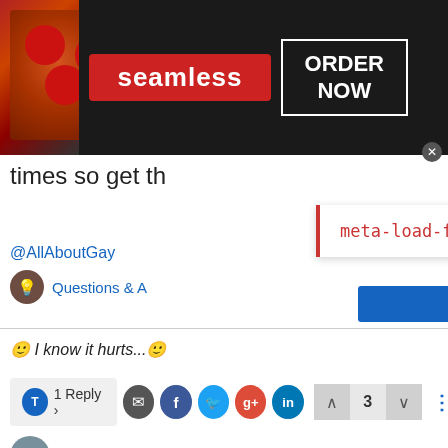[Figure (screenshot): Seamless food delivery advertisement banner with pizza image, red Seamless logo, and ORDER NOW button on dark background]
times so get th...
[Figure (screenshot): Error popup overlay showing 'meta-load-failed' in red text on white background with red left border]
Questions & A...
@AllAboutGay
🙂 I know it hurts...🙂
T 1 Reply > [share icons] ^ 3 v ...
Mello  GSP PATROL | THE PROOF...  Apr 28, 2020, 6:14 PM
[Figure (screenshot): Women's Fashion | Shop Online | VENUS advertisement with clothing image, blue arrow button, and venus.com URL]